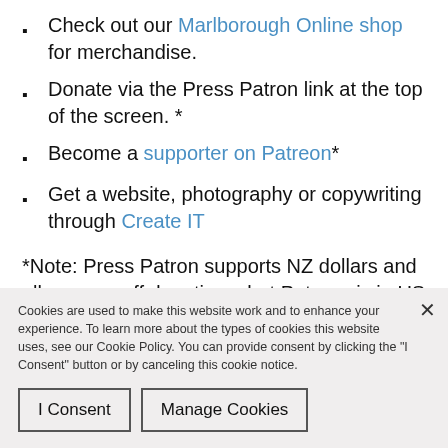Check out our Marlborough Online shop for merchandise.
Donate via the Press Patron link at the top of the screen. *
Become a supporter on Patreon*
Get a website, photography or copywriting through Create IT
*Note: Press Patron supports NZ dollars and allows one off donations, but Patreon is in US dollars and
Cookies are used to make this website work and to enhance your experience. To learn more about the types of cookies this website uses, see our Cookie Policy. You can provide consent by clicking the "I Consent" button or by canceling this cookie notice.